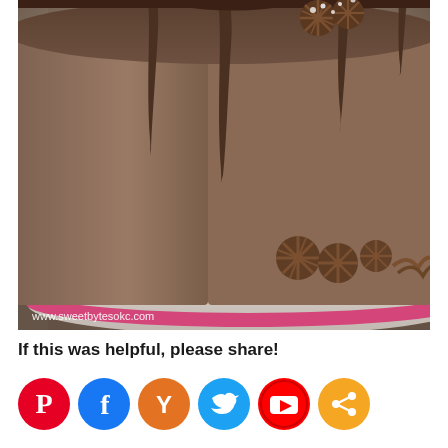[Figure (photo): Close-up photograph of a chocolate drip cake with smooth dark chocolate frosting, chocolate ganache dripping from the top edge, decorative chocolate rosette piping at the bottom right, sitting on a pink/red cake board. Watermark reads www.sweetbytesokc.com]
If this was helpful, please share!
[Figure (infographic): Row of social media sharing icons: Pinterest (red circle with P), Facebook (blue circle with f), Yummly (orange circle with Y), Twitter (light blue circle with bird), YouTube (red circle with play button), Share/generic (orange circle with share icon)]